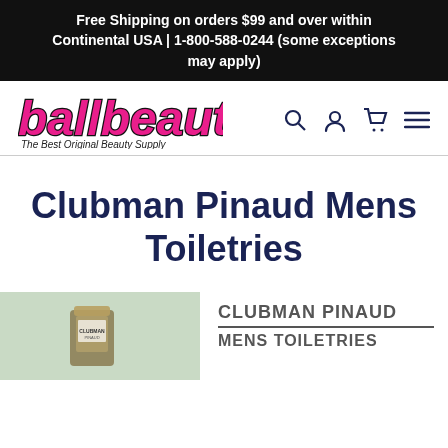Free Shipping on orders $99 and over within Continental USA | 1-800-588-0244 (some exceptions may apply)
[Figure (logo): ballbeauty logo — pink italic bold script with black outline; tagline: The Best Original Beauty Supply]
Clubman Pinaud Mens Toiletries
[Figure (photo): Partial view of a Clubman Pinaud Mens Toiletries product on a light green background]
CLUBMAN PINAUD MENS TOILETRIES